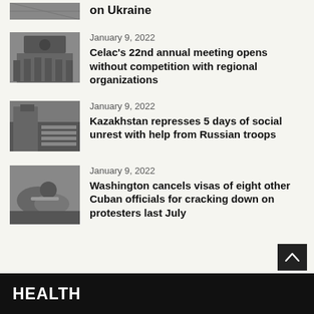[Figure (photo): Partial photo visible at top of page, partially cropped]
on Ukraine
[Figure (photo): Group of officials standing in front of a building, Celac meeting]
January 9, 2022
Celac's 22nd annual meeting opens without competition with regional organizations
[Figure (photo): Building exterior, Kazakhstan unrest]
January 9, 2022
Kazakhstan represses 5 days of social unrest with help from Russian troops
[Figure (photo): Hands, monochrome, Cuban officials story]
January 9, 2022
Washington cancels visas of eight other Cuban officials for cracking down on protesters last July
HEALTH